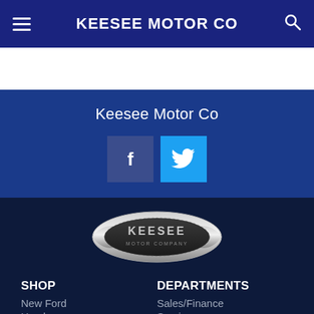KEESEE MOTOR CO
Keesee Motor Co
[Figure (logo): Keesee Motor Company oval chrome logo badge]
SHOP
New Ford
Used
DEPARTMENTS
Sales/Finance
Service